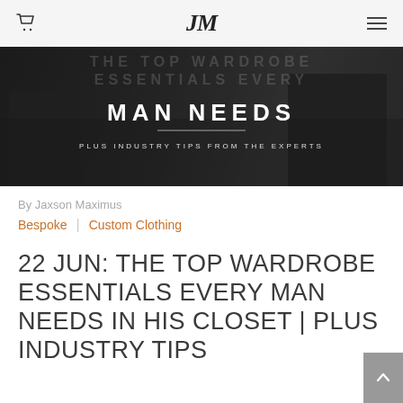JM
[Figure (photo): Dark moody hero image of men in suits with overlaid text: MAN NEEDS / PLUS INDUSTRY TIPS FROM THE EXPERTS, with faint background text THE TOP WARDROBE ESSENTIALS EVERY]
By Jaxson Maximus
Bespoke | Custom Clothing
22 JUN: THE TOP WARDROBE ESSENTIALS EVERY MAN NEEDS IN HIS CLOSET | PLUS INDUSTRY TIPS